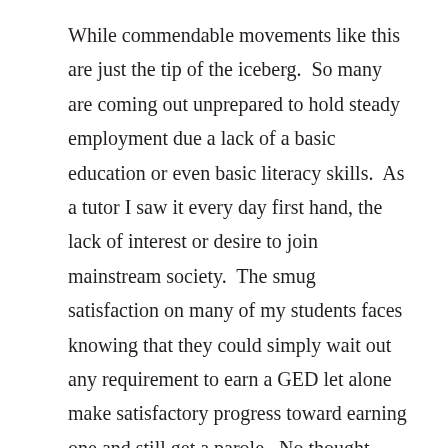While commendable movements like this are just the tip of the iceberg.  So many are coming out unprepared to hold steady employment due a lack of a basic education or even basic literacy skills.  As a tutor I saw it every day first hand, the lack of interest or desire to join mainstream society.  The smug satisfaction on many of my students faces knowing that they could simply wait out any requirement to earn a GED let alone make satisfactory progress toward earning one and still get a parole.  No thought toward a living a life as a productive member of society.
For many who have served long prison sentences returning to society has significant challenges. Technology has changed everything: smart phones, the